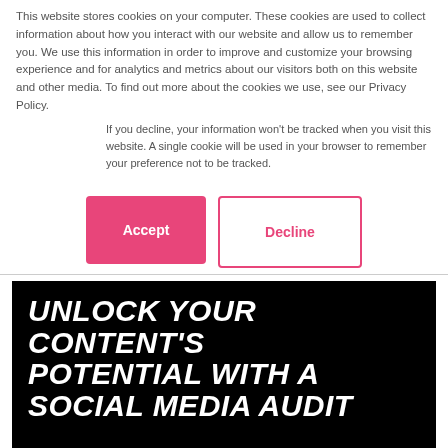This website stores cookies on your computer. These cookies are used to collect information about how you interact with our website and allow us to remember you. We use this information in order to improve and customize your browsing experience and for analytics and metrics about our visitors both on this website and other media. To find out more about the cookies we use, see our Privacy Policy.
If you decline, your information won't be tracked when you visit this website. A single cookie will be used in your browser to remember your preference not to be tracked.
[Figure (other): Two buttons: a pink/rose filled 'Accept' button and a white 'Decline' button with pink border]
[Figure (other): Black banner image with bold white italic uppercase text: UNLOCK YOUR CONTENT'S POTENTIAL WITH A SOCIAL MEDIA AUDIT]